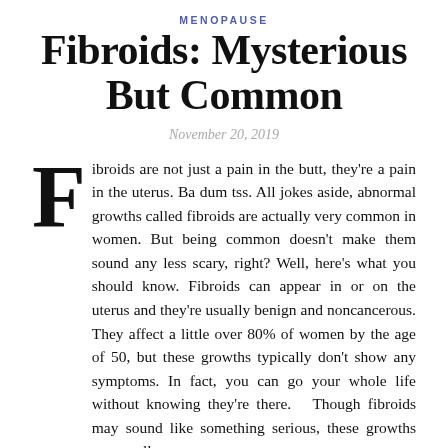MENOPAUSE
Fibroids: Mysterious But Common
November 20, 2019
Fibroids are not just a pain in the butt, they're a pain in the uterus. Ba dum tss. All jokes aside, abnormal growths called fibroids are actually very common in women. But being common doesn't make them sound any less scary, right? Well, here's what you should know. Fibroids can appear in or on the uterus and they're usually benign and noncancerous. They affect a little over 80% of women by the age of 50, but these growths typically don't show any symptoms. In fact, you can go your whole life without knowing they're there.  Though fibroids may sound like something serious, these growths are usually